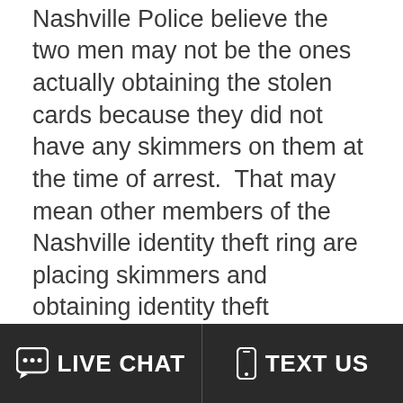Nashville Police believe the two men may not be the ones actually obtaining the stolen cards because they did not have any skimmers on them at the time of arrest.  That may mean other members of the Nashville identity theft ring are placing skimmers and obtaining identity theft
LIVE CHAT   TEXT US